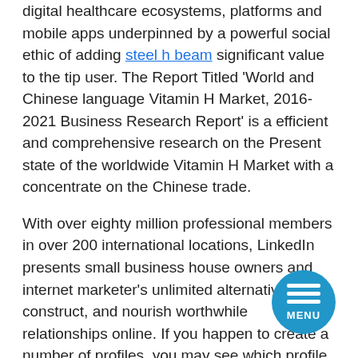digital healthcare ecosystems, platforms and mobile apps underpinned by a powerful social ethic of adding steel h beam significant value to the tip user. The Report Titled ‘World and Chinese language Vitamin H Market, 2016-2021 Business Research Report’ is a efficient and comprehensive research on the Present state of the worldwide Vitamin H Market with a concentrate on the Chinese trade.
With over eighty million professional members in over 200 international locations, LinkedIn presents small business house owners and internet marketer’s unlimited alternatives to construct, and nourish worthwhile relationships online. If you happen to create a number of profiles, you may see which profile you are accessing from any screen by trying right here. The information accessible in this report will give readers all the main points and in sight view of the International and Chinese Lecithin market which